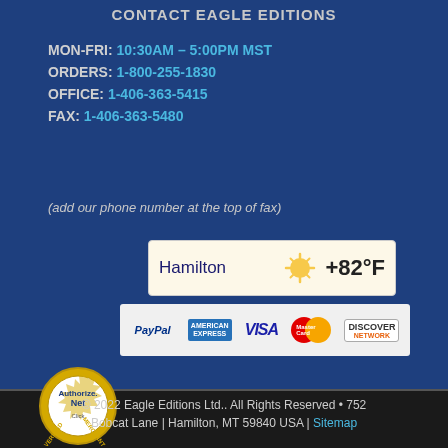CONTACT EAGLE EDITIONS
MON-FRI: 10:30AM – 5:00PM MST
ORDERS: 1-800-255-1830
OFFICE: 1-406-363-5415
FAX: 1-406-363-5480
(add our phone number at the top of fax)
[Figure (infographic): Weather widget showing Hamilton location with sun icon and temperature +82°F on cream background]
[Figure (infographic): Payment methods strip showing PayPal, American Express, VISA, MasterCard, Discover Network logos]
[Figure (logo): Authorize.Net Verified Merchant seal/badge in gold circular design]
© 2022 Eagle Editions Ltd.. All Rights Reserved • 752 Bobcat Lane | Hamilton, MT 59840 USA | Sitemap